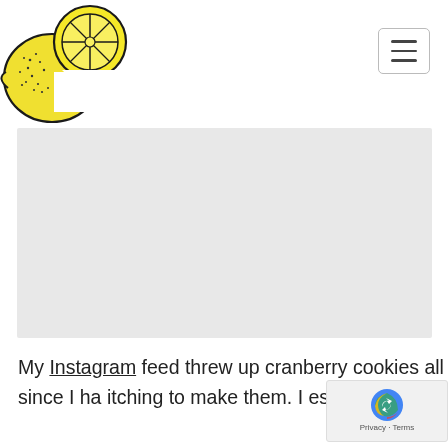[Figure (logo): Yellow lemon/citrus illustration logo with black outlines showing whole and sliced lemons]
[Figure (other): Navigation hamburger menu button (three horizontal lines) in a bordered rounded rectangle]
[Figure (photo): Large light gray placeholder image block for a food photo]
My Instagram feed threw up cranberry cookies all the months of November & December, and ever since I ha itching to make them. I especially ordered dried cranberries